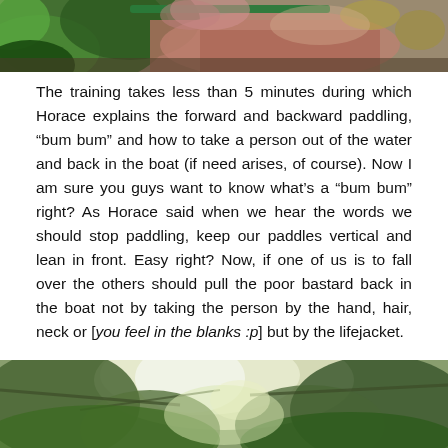[Figure (photo): Outdoor nature photograph showing green foliage, plants and a reddish-brown rocky terrain or path in the background. A green pipe or rail is visible.]
The training takes less than 5 minutes during which Horace explains the forward and backward paddling, “bum bum” and how to take a person out of the water and back in the boat (if need arises, of course). Now I am sure you guys want to know what’s a “bum bum” right? As Horace said when we hear the words we should stop paddling, keep our paddles vertical and lean in front. Easy right? Now, if one of us is to fall over the others should pull the poor bastard back in the boat not by taking the person by the hand, hair, neck or [you feel in the blanks :p] but by the lifejacket.
[Figure (photo): Outdoor nature photograph looking up through dense tree canopy with bright sunlight filtering through green leaves and branches.]